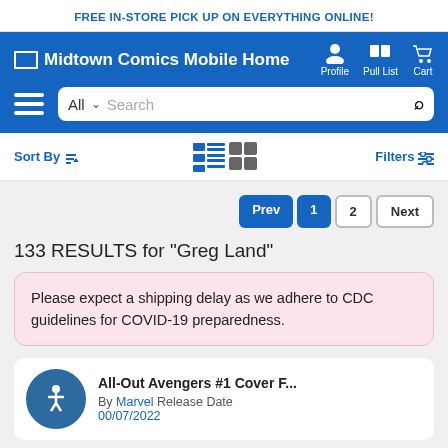FREE IN-STORE PICK UP ON EVERYTHING ONLINE!
[Figure (screenshot): Midtown Comics mobile website navigation header with logo, Profile, Pull List, and Cart icons on blue background]
Sort By  Filters
Prev 1 2 Next
133 RESULTS for "Greg Land"
Please expect a shipping delay as we adhere to CDC guidelines for COVID-19 preparedness.
All-Out Avengers #1 Cover F... By Marvel Release Date 00/07/2022